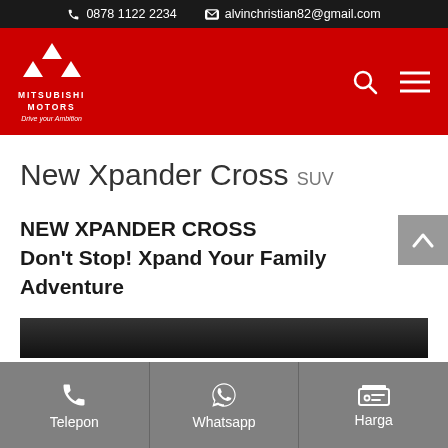0878 1122 2234   alvinchristian82@gmail.com
[Figure (logo): Mitsubishi Motors logo - three diamond shapes in white on red background, with text MITSUBISHI MOTORS and tagline Drive your Ambition]
New Xpander Cross SUV
NEW XPANDER CROSS
Don't Stop! Xpand Your Family Adventure
[Figure (photo): Dark automotive photo strip showing the New Xpander Cross vehicle]
Telepon   Whatsapp   Harga